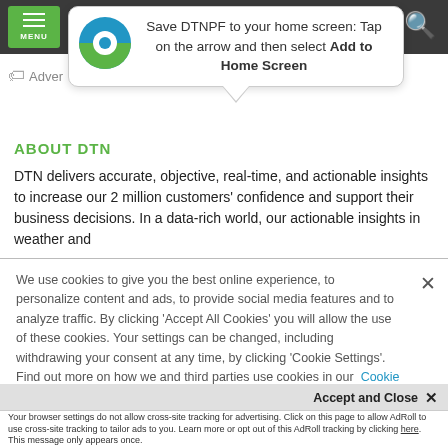[Figure (screenshot): Mobile browser navigation bar with green MENU button on left and green search icon on right against dark background]
[Figure (infographic): Add to Home Screen tooltip bubble with DTN app logo (blue and green circle) and text: Save DTNPF to your home screen: Tap on the arrow and then select Add to Home Screen]
Adver...
ABOUT DTN
DTN delivers accurate, objective, real-time, and actionable insights to increase our 2 million customers' confidence and support their business decisions. In a data-rich world, our actionable insights in weather and
We use cookies to give you the best online experience, to personalize content and ads, to provide social media features and to analyze traffic. By clicking 'Accept All Cookies' you will allow the use of these cookies. Your settings can be changed, including withdrawing your consent at any time, by clicking 'Cookie Settings'. Find out more on how we and third parties use cookies in our  Cookie Policy
Accept and Close ×
Your browser settings do not allow cross-site tracking for advertising. Click on this page to allow AdRoll to use cross-site tracking to tailor ads to you. Learn more or opt out of this AdRoll tracking by clicking here. This message only appears once.